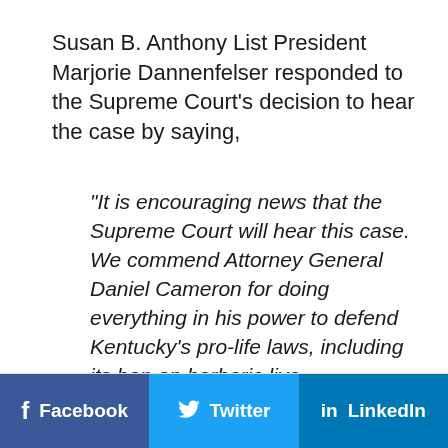Susan B. Anthony List President Marjorie Dannenfelser responded to the Supreme Court's decision to hear the case by saying,
“It is encouraging news that the Supreme Court will hear this case. We commend Attorney General Daniel Cameron for doing everything in his power to defend Kentucky’s pro-life laws, including its ban on barbaric live-dismemberment abortions, which was enacted with